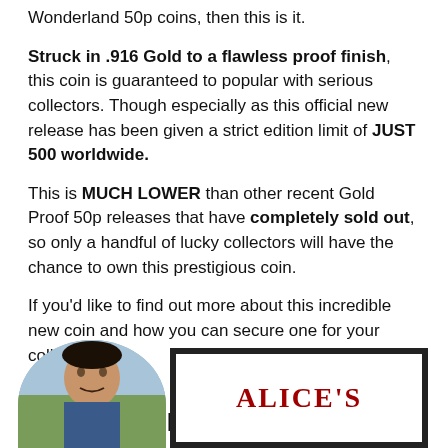Wonderland 50p coins, then this is it.
Struck in .916 Gold to a flawless proof finish, this coin is guaranteed to popular with serious collectors. Though especially as this official new release has been given a strict edition limit of JUST 500 worldwide.
This is MUCH LOWER than other recent Gold Proof 50p releases that have completely sold out, so only a handful of lucky collectors will have the chance to own this prestigious coin.
If you'd like to find out more about this incredible new coin and how you can secure one for your collection, click here >>
The LIMITED EDITION Signed Print
[Figure (photo): Circular cropped photo of a man outdoors, partially visible at the bottom left, alongside a framed print showing text 'ALICE'S' in red serif font on white background with black frame.]